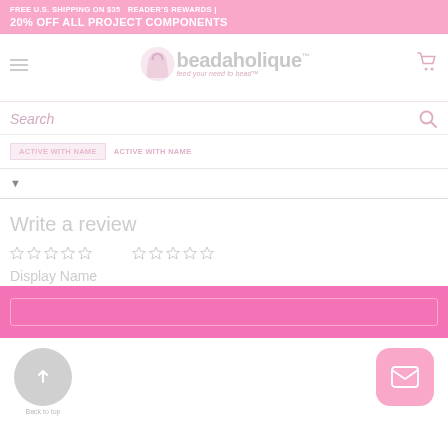FREE U.S. SHIPPING ON $35  READER'S REWARDS | 20% OFF ALL PROJECT COMPONENTS
[Figure (logo): Beadaholique logo with shopping bag icon and tagline 'feed your need to bead']
Search
▼
Write a review
Display Name
Back to top
[Figure (screenshot): Email/envelope button icon in pink rounded square]